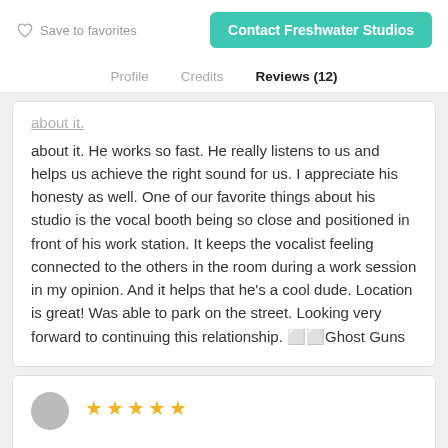Save to favorites   Contact Freshwater Studios
Profile   Credits   Reviews (12)
about it. He works so fast. He really listens to us and helps us achieve the right sound for us. I appreciate his honesty as well. One of our favorite things about his studio is the vocal booth being so close and positioned in front of his work station. It keeps the vocalist feeling connected to the others in the room during a work session in my opinion. And it helps that he's a cool dude. Location is great! Was able to park on the street. Looking very forward to continuing this relationship. ⬜⬜Ghost Guns
[Figure (other): Bottom of page showing a new review card with a circular avatar placeholder and 4-5 star rating icons in gold/yellow]